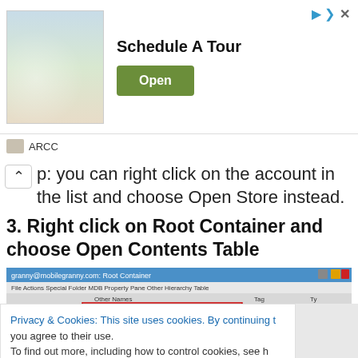[Figure (other): Advertisement banner: Schedule A Tour with wedding venue image and green Open button]
ARCC
p: you can right click on the account in the list and choose Open Store instead.
3. Right click on Root Container and choose Open Contents Table
[Figure (screenshot): Screenshot of granny@mobilegranny.com: Root Container window showing context menu with Open Contents Table highlighted, and other options like Open Associated Contents Table, Open Deleted Contents Table, Open Deleted Sub Folder Table]
Privacy & Cookies: This site uses cookies. By continuing to use this website, you agree to their use. To find out more, including how to control cookies, see h